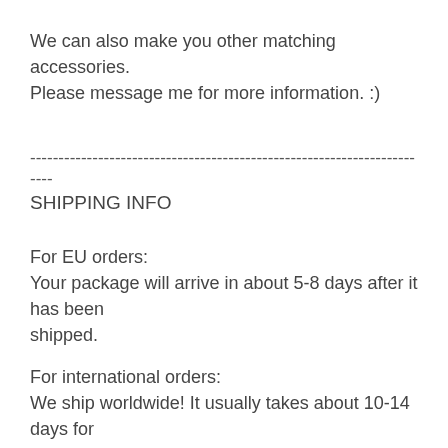We can also make you other matching accessories.
Please message me for more information. :)
------------------------------------------------------------------------
SHIPPING INFO
For EU orders:
Your package will arrive in about 5-8 days after it has been shipped.
For international orders:
We ship worldwide! It usually takes about 10-14 days for international orders to arrive depending upon where you are located and customs.
EXPRESS SHIPPING is available at the checkout! *to the